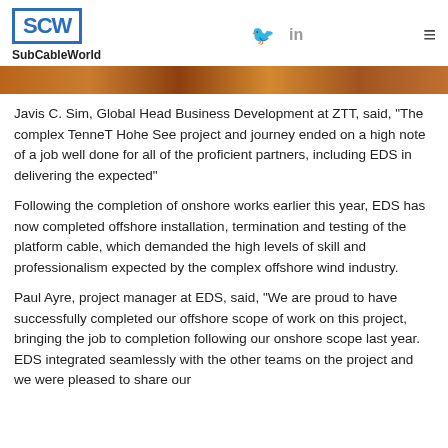SubCableWorld
[Figure (photo): Cropped photo strip showing people at an event or industrial setting, warm brown/orange tones]
Javis C. Sim, Global Head Business Development at ZTT, said, “The complex TenneT Hohe See project and journey ended on a high note of a job well done for all of the proficient partners, including EDS in delivering the expected”
Following the completion of onshore works earlier this year, EDS has now completed offshore installation, termination and testing of the platform cable, which demanded the high levels of skill and professionalism expected by the complex offshore wind industry.
Paul Ayre, project manager at EDS, said, “We are proud to have successfully completed our offshore scope of work on this project, bringing the job to completion following our onshore scope last year. EDS integrated seamlessly with the other teams on the project and we were pleased to share our